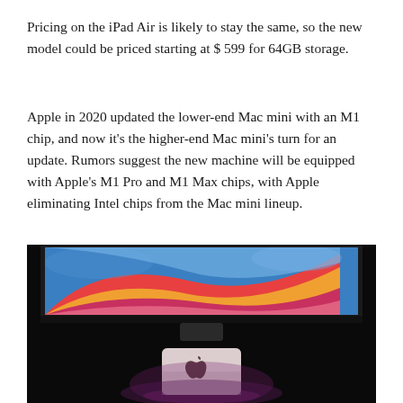Pricing on the iPad Air is likely to stay the same, so the new model could be priced starting at $ 599 for 64GB storage.
Apple in 2020 updated the lower-end Mac mini with an M1 chip, and now it's the higher-end Mac mini's turn for an update. Rumors suggest the new machine will be equipped with Apple's M1 Pro and M1 Max chips, with Apple eliminating Intel chips from the Mac mini lineup.
[Figure (photo): A Mac mini with Apple logo on top, photographed against a dark background with a colorful macOS Big Sur wallpaper visible on a monitor above it. The wallpaper features vibrant gradients of red, orange, yellow, and blue. The Mac mini appears in a pinkish-silver color.]